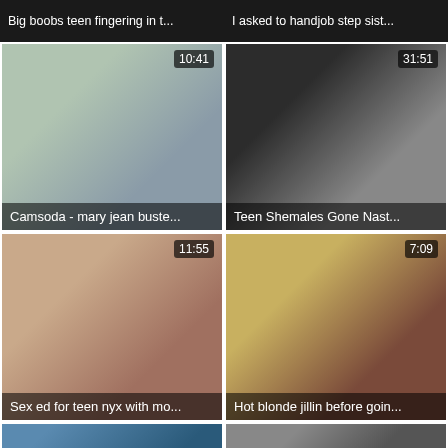[Figure (screenshot): Video thumbnail top bar - Big boobs teen fingering in t...]
[Figure (screenshot): Video thumbnail top bar - I asked to handjob step sist...]
[Figure (photo): Video thumbnail: Camsoda - mary jean buste... Duration: 10:41]
[Figure (photo): Video thumbnail: Teen Shemales Gone Nast... Duration: 31:51]
[Figure (photo): Video thumbnail: Sex ed for teen nyx with mo... Duration: 11:55]
[Figure (photo): Video thumbnail: Hot blonde jillin before goin... Duration: 7:09]
[Figure (photo): Partial video thumbnail bottom left]
[Figure (photo): Partial video thumbnail bottom right]